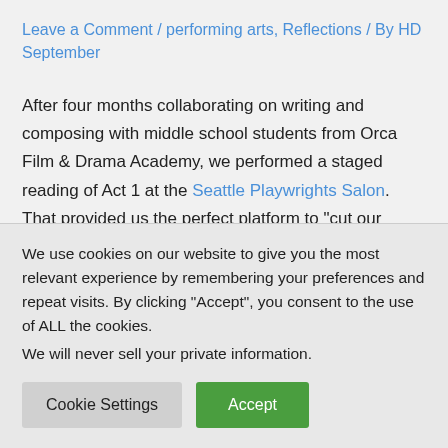Leave a Comment / performing arts, Reflections / By HD September
After four months collaborating on writing and composing with middle school students from Orca Film & Drama Academy, we performed a staged reading of Act 1 at the Seattle Playwrights Salon. That provided us the perfect platform to "cut our teeth". Click here to see photos of our first full production and for a conversation between playwright Melodee Miller and
We use cookies on our website to give you the most relevant experience by remembering your preferences and repeat visits. By clicking "Accept", you consent to the use of ALL the cookies.
We will never sell your private information.
Cookie Settings
Accept